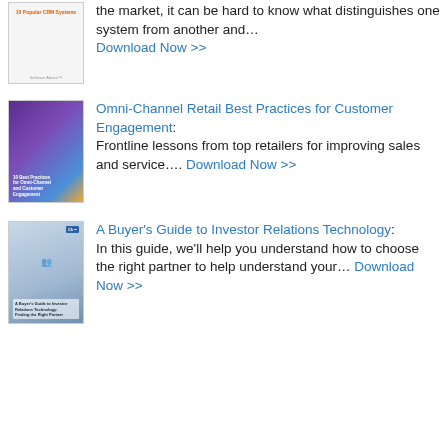[Figure (photo): Thumbnail of a CRM systems guide book cover with orange text '10 Popular CRM Systems' and a logo at the bottom]
the market, it can be hard to know what distinguishes one system from another and… Download Now >>
[Figure (photo): Thumbnail of Omni-Channel Retail Best Practices for Customer Engagement guide with purple/blue gradient and person with laptop]
Omni-Channel Retail Best Practices for Customer Engagement: Frontline lessons from top retailers for improving sales and service…. Download Now >>
[Figure (photo): Thumbnail of A Buyer's Guide to Investor Relations Technology with business people shaking hands in office setting]
A Buyer's Guide to Investor Relations Technology: In this guide, we'll help you understand how to choose the right partner to help understand your… Download Now >>